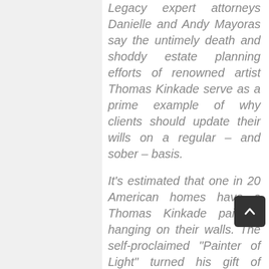Legacy expert attorneys Danielle and Andy Mayoras say the untimely death and shoddy estate planning efforts of renowned artist Thomas Kinkade serve as a prime example of why clients should update their wills on a regular – and sober – basis.
It's estimated that one in 20 American homes have a Thomas Kinkade painting hanging on their walls. The self-proclaimed “Painter of Light” turned his gift of rendering landscapes and other works of art into a tremendous commercial endeavor.
In fact, his numerous corporate holdings reportedly topped $100 million in annual sales some years